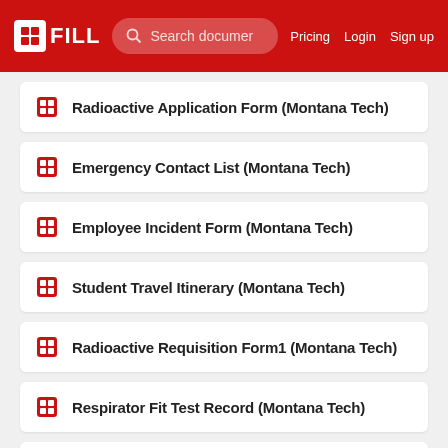FILL | Search documents | Pricing | Login | Sign up
Radioactive Application Form (Montana Tech)
Emergency Contact List (Montana Tech)
Employee Incident Form (Montana Tech)
Student Travel Itinerary (Montana Tech)
Radioactive Requisition Form1 (Montana Tech)
Respirator Fit Test Record (Montana Tech)
Nearmiss Report Form (Montana Tech)